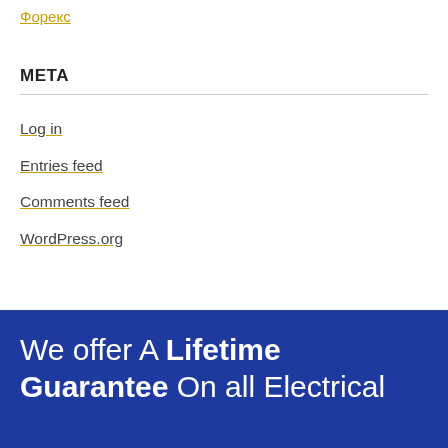Форекс
META
Log in
Entries feed
Comments feed
WordPress.org
We offer A Lifetime Guarantee On all Electrical